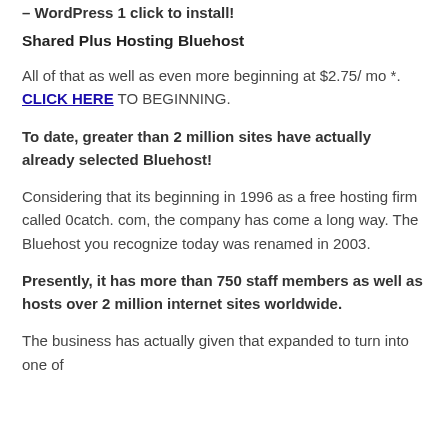– WordPress 1 click to install!
Shared Plus Hosting Bluehost
All of that as well as even more beginning at $2.75/ mo *. CLICK HERE TO BEGINNING.
To date, greater than 2 million sites have actually already selected Bluehost!
Considering that its beginning in 1996 as a free hosting firm called 0catch. com, the company has come a long way. The Bluehost you recognize today was renamed in 2003.
Presently, it has more than 750 staff members as well as hosts over 2 million internet sites worldwide.
The business has actually given that expanded to turn into one of